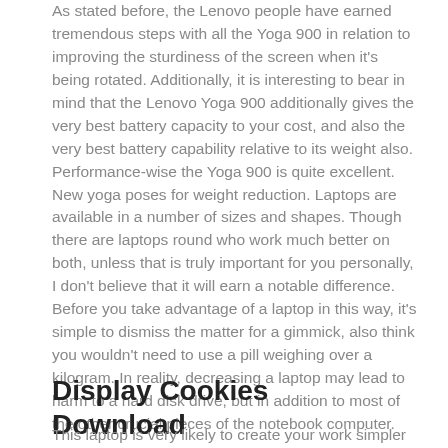As stated before, the Lenovo people have earned tremendous steps with all the Yoga 900 in relation to improving the sturdiness of the screen when it's being rotated. Additionally, it is interesting to bear in mind that the Lenovo Yoga 900 additionally gives the very best battery capacity to your cost, and also the very best battery capability relative to its weight also. Performance-wise the Yoga 900 is quite excellent. New yoga poses for weight reduction. Laptops are available in a number of sizes and shapes. Though there are laptops round who work much better on both, unless that is truly important for you personally, I don't believe that it will earn a notable difference. Before you take advantage of a laptop in this way, it's simple to dismiss the matter for a gimmick, also think you wouldn't need to use a pill weighing over a kilogram. In reality, decreasing a laptop may lead to harm to a hard disk drive, but in addition to most of the other crucial pieces of the notebook computer.
Display Cookies Download
This laptop is very likely to create your work simpler and